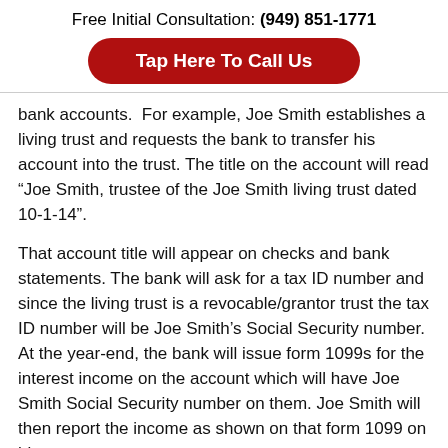Free Initial Consultation: (949) 851-1771
[Figure (other): Red rounded button with white text: Tap Here To Call Us]
bank accounts.  For example, Joe Smith establishes a living trust and requests the bank to transfer his account into the trust. The title on the account will read “Joe Smith, trustee of the Joe Smith living trust dated 10-1-14”.
That account title will appear on checks and bank statements. The bank will ask for a tax ID number and since the living trust is a revocable/grantor trust the tax ID number will be Joe Smith’s Social Security number. At the year-end, the bank will issue form 1099s for the interest income on the account which will have Joe Smith Social Security number on them. Joe Smith will then report the income as shown on that form 1099 on his...